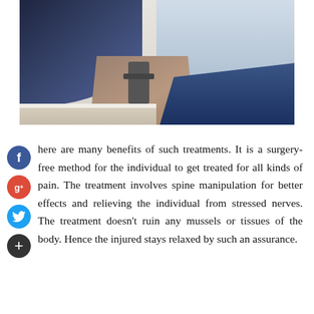[Figure (photo): Close-up photo of a person receiving chiropractic or physical therapy treatment, showing blue fabric, pillows, and equipment against a light-colored wall and floor.]
There are many benefits of such treatments. It is a surgery-free method for the individual to get treated for all kinds of pain. The treatment involves spine manipulation for better effects and relieving the individual from stressed nerves. The treatment doesn't ruin any mussels or tissues of the body. Hence the injured stays relaxed by such an assurance.